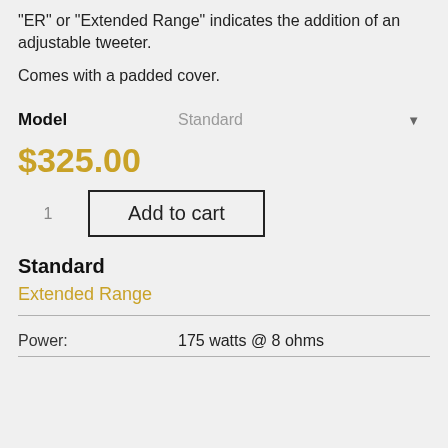"ER" or "Extended Range" indicates the addition of an adjustable tweeter.
Comes with a padded cover.
Model  Standard ▼
$325.00
1  Add to cart
Standard
Extended Range
Power:  175 watts @ 8 ohms